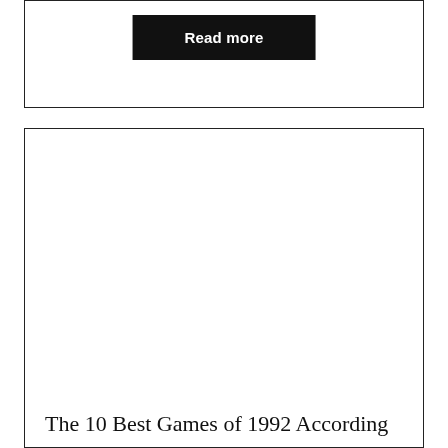[Figure (other): Card with a black 'Read more' button centered in white space]
[Figure (other): Card with large white/blank image area and a title at the bottom reading 'The 10 Best Games of 1992 According']